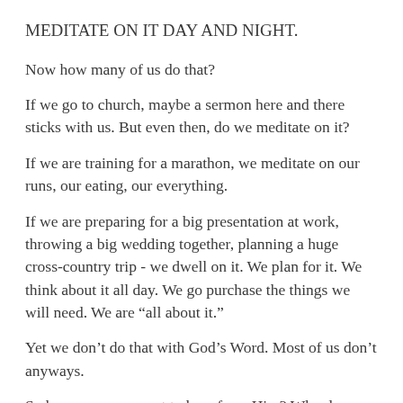MEDITATE ON IT DAY AND NIGHT.
Now how many of us do that?
If we go to church, maybe a sermon here and there sticks with us. But even then, do we meditate on it?
If we are training for a marathon, we meditate on our runs, our eating, our everything.
If we are preparing for a big presentation at work, throwing a big wedding together, planning a huge cross-country trip - we dwell on it. We plan for it. We think about it all day. We go purchase the things we will need. We are “all about it.”
Yet we don’t do that with God’s Word. Most of us don’t anyways.
So how can we expect to hear from Him? Why do we complain and say, “I never know what God wants me to